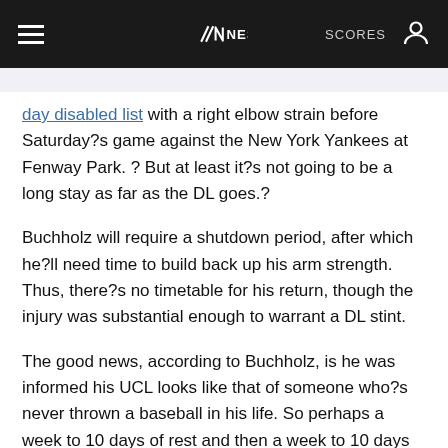NESN — SCORES
day disabled list with a right elbow strain before Saturday?s game against the New York Yankees at Fenway Park. ? But at least it?s not going to be a long stay as far as the DL goes.?
Buchholz will require a shutdown period, after which he?ll need time to build back up his arm strength. Thus, there?s no timetable for his return, though the injury was substantial enough to warrant a DL stint.
The good news, according to Buchholz, is he was informed his UCL looks like that of someone who?s never thrown a baseball in his life. So perhaps a week to 10 days of rest and then a week to 10 days of building back up his arm strength will be enough to do the trick.